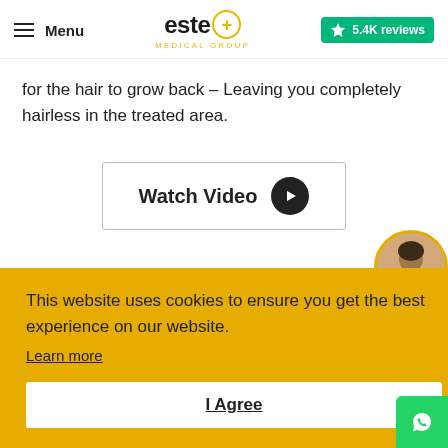Menu | Este+ Medical Group | 5.4K reviews
for the hair to grow back – Leaving you completely hairless in the treated area.
[Figure (screenshot): Watch Video button with play icon]
[Figure (photo): Avatar photo of a woman in a circular bubble]
This website uses cookies to ensure you get the best experience on our website. Learn more I Agree